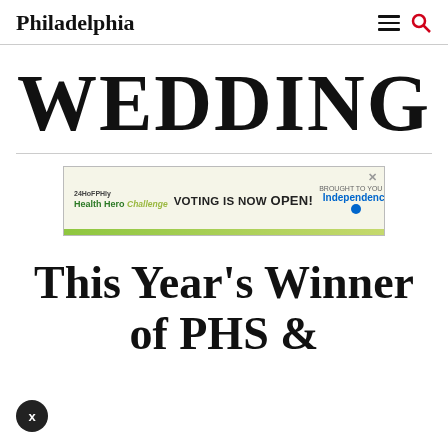Philadelphia
WEDDING
[Figure (infographic): Advertisement banner: '24HoFPHly Health Hero Challenge VOTING IS NOW OPEN! Independence' with green bar at bottom and X close button]
This Year's Winner of PHS &